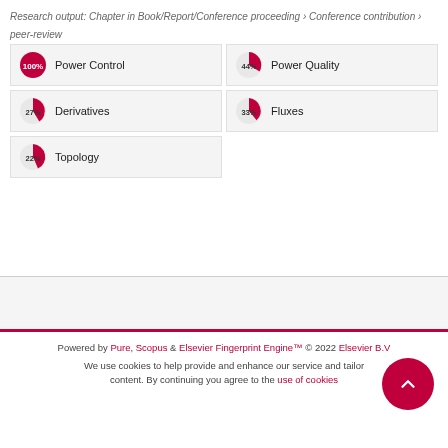Research output: Chapter in Book/Report/Conference proceeding › Conference contribution › peer-review
[Figure (infographic): Five keyword tags with circular pie-chart percentage indicators: Power Control (100%, red), Power Quality (~44%, red), Derivatives (~27%, red), Fluxes (~33%, red), Topology (~22%, red)]
Powered by Pure, Scopus & Elsevier Fingerprint Engine™ © 2022 Elsevier B.V
We use cookies to help provide and enhance our service and tailor content. By continuing you agree to the use of cookies